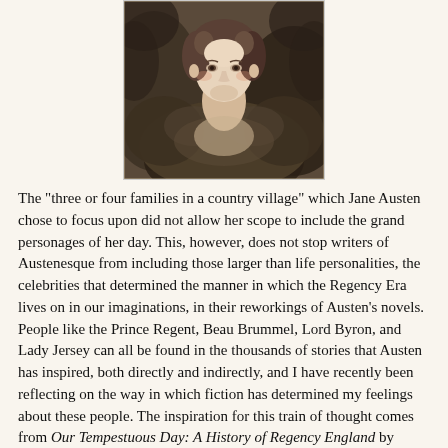[Figure (photo): A classical portrait painting of a young woman with pale skin and dark hair, wearing what appears to be a light-colored dress or bodice. The background is dark and stormy, with the figure emerging from swirling dark tones. The painting style suggests early 19th century portraiture.]
The "three or four families in a country village" which Jane Austen chose to focus upon did not allow her scope to include the grand personages of her day. This, however, does not stop writers of Austenesque from including those larger than life personalities, the celebrities that determined the manner in which the Regency Era lives on in our imaginations, in their reworkings of Austen's novels. People like the Prince Regent, Beau Brummel, Lord Byron, and Lady Jersey can all be found in the thousands of stories that Austen has inspired, both directly and indirectly, and I have recently been reflecting on the way in which fiction has determined my feelings about these people. The inspiration for this train of thought comes from Our Tempestuous Day: A History of Regency England by Carolly Erickson, which I just read, and her depiction of Lady Caroline Lamb. She writes: